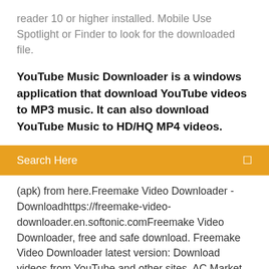reader 10 or higher installed. Mobile Use Spotlight or Finder to look for the downloaded file.
YouTube Music Downloader is a windows application that download YouTube videos to MP3 music. It can also download YouTube Music to HD/HQ MP4 videos.
Search Here
(apk) from here.Freemake Video Downloader - Downloadhttps://freemake-video-downloader.en.softonic.comFreemake Video Downloader, free and safe download. Freemake Video Downloader latest version: Download videos from YouTube and other sites. AC Market is the best third party apps store for downloading cracked/Mod Apps and Games for free. Download AC Market Latest version for Android via APK.Download | AxCrypt - File Security Made Easyhttps://axcrypt.net/downloadDownload AxCrypt for free now. Secure any number of files using strong encryption and